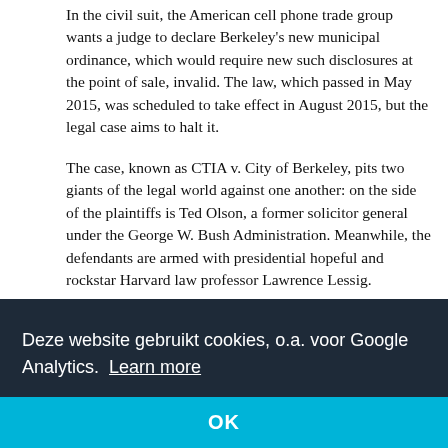In the civil suit, the American cell phone trade group wants a judge to declare Berkeley's new municipal ordinance, which would require new such disclosures at the point of sale, invalid. The law, which passed in May 2015, was scheduled to take effect in August 2015, but the legal case aims to halt it.
The case, known as CTIA v. City of Berkeley, pits two giants of the legal world against one another: on the side of the plaintiffs is Ted Olson, a former solicitor general under the George W. Bush Administration. Meanwhile, the defendants are armed with presidential hopeful and rockstar Harvard law professor Lawrence Lessig.
While it's easy to chalk this story up to yet another chapter in the ongoing saga of Bezerkeley, or the [obscured] not [obscured] will
[Figure (screenshot): Cookie consent banner overlay with dark navy background containing Dutch text 'Deze website gebruikt cookies, o.a. voor Google Analytics. Learn more' and a cyan/turquoise OK button bar at the bottom.]
[obscured] pro
This has to do with what the Federal Communications Commission mandates include in